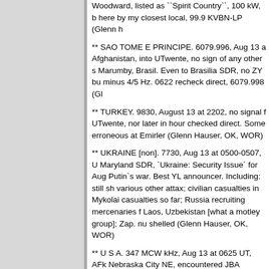Woodward, listed as ``Spirit Country``, 100 kW, b here by my closest local, 99.9 KVBN-LP (Glenn h
** SAO TOME E PRINCIPE. 6079.996, Aug 13 a Afghanistan, into UTwente, no sign of any other s Marumby, Brasil. Even to Brasilia SDR, no ZY bu minus 4/5 Hz. 0622 recheck direct, 6079.998 (Gl
** TURKEY. 9830, August 13 at 2202, no signal f UTwente, nor later in hour checked direct. Some erroneous at Emirler (Glenn Hauser, OK, WOR)
** UKRAINE [non]. 7730, Aug 13 at 0500-0507, U Maryland SDR, `Ukraine: Security Issue` for Aug Putin`s war. Best YL announcer. Including: still sh various other attax; civilian casualties in Mykolai casualties so far; Russia recruiting mercenaries f Laos, Uzbekistan [what a motley group]; Zap. nu shelled (Glenn Hauser, OK, WOR)
** U S A. 347 MCW kHz, Aug 13 at 0625 UT, AFk Nebraska City NE, encountered JBA between 34 in winter and now the central storm noise abated OK, WOR)
** U S A [and non]. WORLD OF RADIO 2151 mc 9395 anymore at 0130 UT Saturday August 13, a 7730 is *on* the air after 0130 with algo, unlike 2 WOR should have aired there.
Also confirmed UT Saturday August 13 at 0400 o 5130 minus 27/28 Hz into Maryland SDR, = 5129